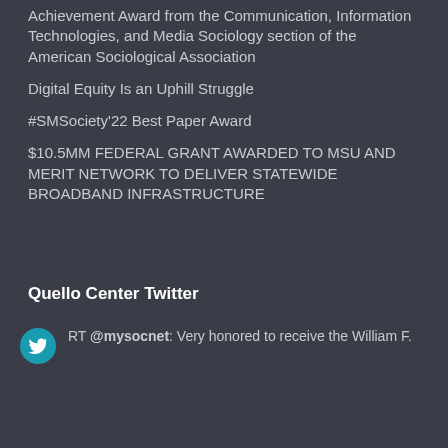Achievement Award from the Communication, Information Technologies, and Media Sociology section of the American Sociological Association
Digital Equity Is an Uphill Struggle
#SMSociety’22 Best Paper Award
$10.5MM FEDERAL GRANT AWARDED TO MSU AND MERIT NETWORK TO DELIVER STATEWIDE BROADBAND INFRASTRUCTURE
Quello Center Twitter
RT @mysocnet: Very honored to receive the William F.